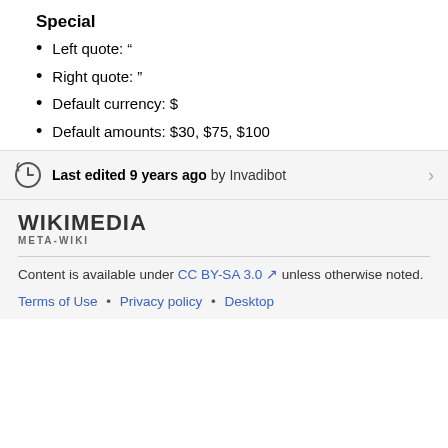Special
Left quote: “
Right quote: ”
Default currency: $
Default amounts: $30, $75, $100
Last edited 9 years ago by Invadibot
[Figure (logo): Wikimedia Meta-Wiki logo]
Content is available under CC BY-SA 3.0 unless otherwise noted.
Terms of Use • Privacy policy • Desktop